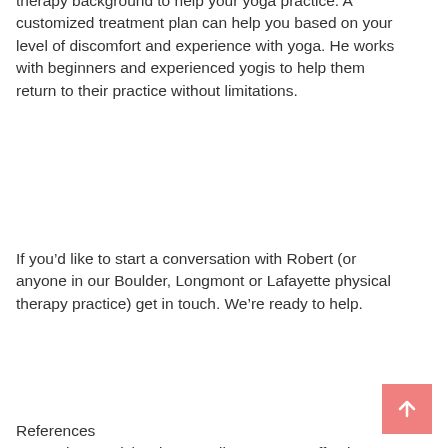therapy background to help your yoga practice. A customized treatment plan can help you based on your level of discomfort and experience with yoga. He works with beginners and experienced yogis to help them return to their practice without limitations.
If you’d like to start a conversation with Robert (or anyone in our Boulder, Longmont or Lafayette physical therapy practice) get in touch. We’re ready to help.
References
Groessl E.J., Richard E.L., Tally S.R. Cost-effectiveness of yoga for